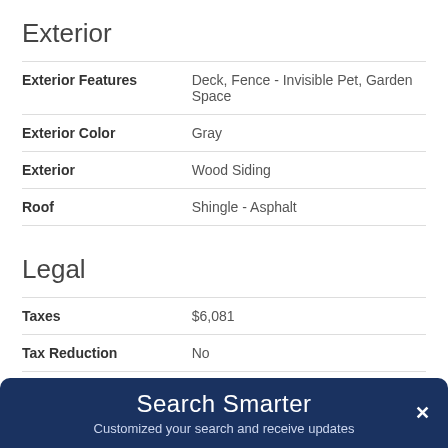Exterior
| Field | Value |
| --- | --- |
| Exterior Features | Deck, Fence - Invisible Pet, Garden Space |
| Exterior Color | Gray |
| Exterior | Wood Siding |
| Roof | Shingle - Asphalt |
Legal
| Field | Value |
| --- | --- |
| Taxes | $6,081 |
| Tax Reduction | No |
| Zoning | Residential |
Search Smarter
Customized your search and receive updates